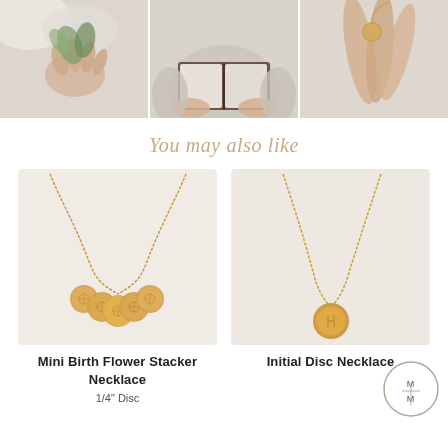[Figure (photo): Three cropped lifestyle photos side by side: left shows hands holding green plant/flowers, center shows person reading a book, right shows person holding a small disc/charm]
You may also like
[Figure (photo): Mini Birth Flower Stacker Necklace product photo on beige background, showing a gold necklace with multiple small disc charms engraved with birth flowers]
[Figure (photo): Initial Disc Necklace product photo on beige background, showing a gold chain necklace with a single small disc pendant]
Mini Birth Flower Stacker Necklace
Initial Disc Necklace
1/4" Disc
[Figure (logo): Circular logo with M|M lettering in the center]